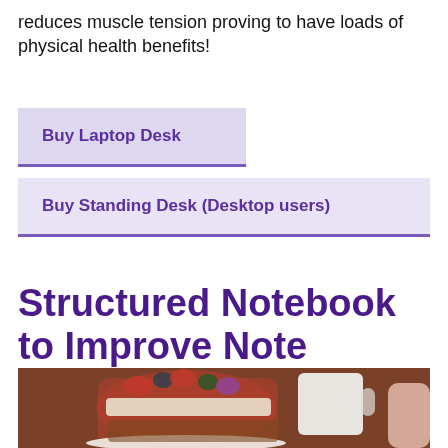reduces muscle tension proving to have loads of physical health benefits!
Buy Laptop Desk
Buy Standing Desk (Desktop users)
Structured Notebook to Improve Note Taking
[Figure (photo): Photo of a parfait or layered dessert in a glass with berries, cream, and toppings on a white plate, with a white mug and a person's arm visible in the background on a wooden surface.]